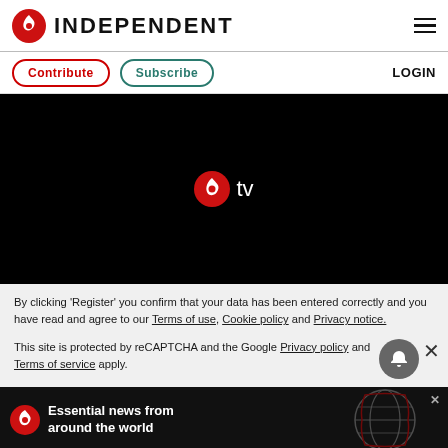INDEPENDENT
Contribute  Subscribe  LOGIN
[Figure (screenshot): Black video player area with Independent TV logo (red eagle icon and 'tv' text in white) centered on a black background]
By clicking 'Register' you confirm that your data has been entered correctly and you have read and agree to our Terms of use, Cookie policy and Privacy notice.
This site is protected by reCAPTCHA and the Google Privacy policy and Terms of service apply.
[Figure (infographic): Black advertisement banner with Independent logo and text 'Essential news from around the world' with globe graphic]